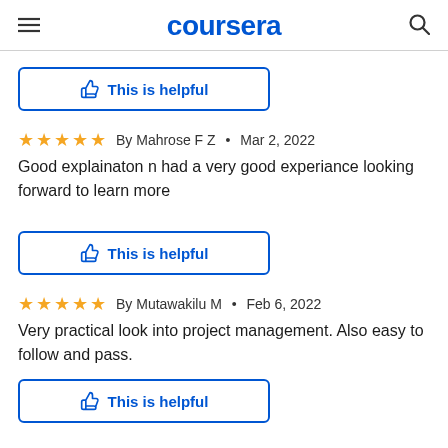coursera
This is helpful
By Mahrose F Z • Mar 2, 2022
Good explainaton n had a very good experiance looking forward to learn more
This is helpful
By Mutawakilu M • Feb 6, 2022
Very practical look into project management. Also easy to follow and pass.
This is helpful